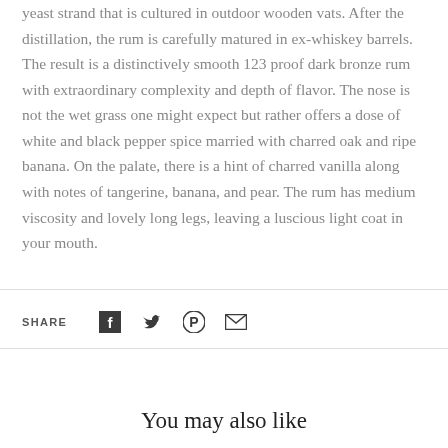yeast strand that is cultured in outdoor wooden vats. After the distillation, the rum is carefully matured in ex-whiskey barrels. The result is a distinctively smooth 123 proof dark bronze rum with extraordinary complexity and depth of flavor. The nose is not the wet grass one might expect but rather offers a dose of white and black pepper spice married with charred oak and ripe banana. On the palate, there is a hint of charred vanilla along with notes of tangerine, banana, and pear. The rum has medium viscosity and lovely long legs, leaving a luscious light coat in your mouth.
SHARE
[Figure (infographic): Social share icons: Facebook, Twitter, Pinterest, Email]
You may also like